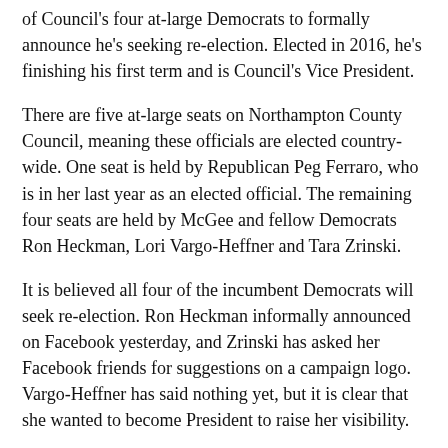of Council's four at-large Democrats to formally announce he's seeking re-election. Elected in 2016, he's finishing his first term and is Council's Vice President.
There are five at-large seats on Northampton County Council, meaning these officials are elected country-wide. One seat is held by Republican Peg Ferraro, who is in her last year as an elected official. The remaining four seats are held by McGee and fellow Democrats Ron Heckman, Lori Vargo-Heffner and Tara Zrinski.
It is believed all four of the incumbent Democrats will seek re-election. Ron Heckman informally announced on Facebook yesterday, and Zrinski has asked her Facebook friends for suggestions on a campaign logo. Vargo-Heffner has said nothing yet, but it is clear that she wanted to become President to raise her visibility.
McGee is the business manager for the asbestos union. He introduced a responsible contractor ordinance in his first term, and it withstood a legal challenge in federal court.
He's made a few mistakes, such as when he attempted to